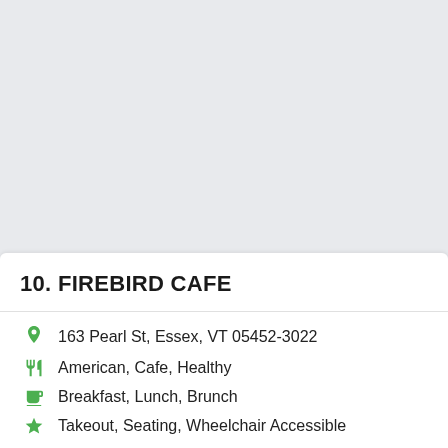10. FIREBIRD CAFE
163 Pearl St, Essex, VT 05452-3022
American, Cafe, Healthy
Breakfast, Lunch, Brunch
Takeout, Seating, Wheelchair Accessible